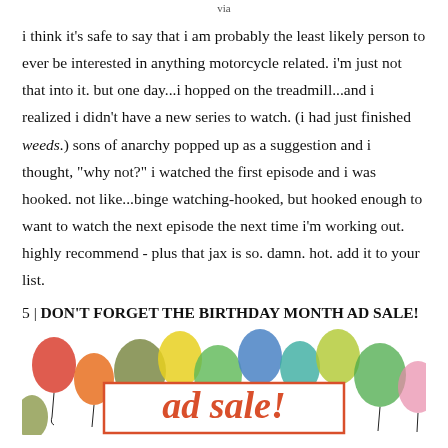via
i think it's safe to say that i am probably the least likely person to ever be interested in anything motorcycle related. i'm just not that into it. but one day...i hopped on the treadmill...and i realized i didn't have a new series to watch. (i had just finished weeds.) sons of anarchy popped up as a suggestion and i thought, "why not?" i watched the first episode and i was hooked. not like...binge watching-hooked, but hooked enough to want to watch the next episode the next time i'm working out. highly recommend - plus that jax is so. damn. hot. add it to your list.
5 | DON'T FORGET THE BIRTHDAY MONTH AD SALE!
[Figure (illustration): Colorful watercolor balloons in red, orange, yellow, green, blue, and teal floating on a white background, with a white box bordered in red/orange at the bottom center reading 'ad sale!' in red cursive script.]